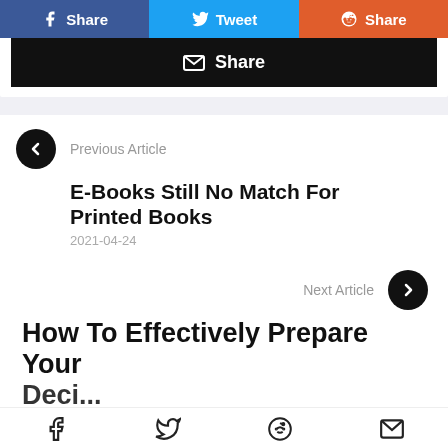[Figure (screenshot): Social share buttons row: Facebook Share (blue), Tweet (light blue), Reddit Share (orange-red)]
[Figure (screenshot): Email Share button (black bar with envelope icon and Share text)]
Previous Article
E-Books Still No Match For Printed Books
2021-04-24
Next Article
How To Effectively Prepare Your [cut off]
Facebook, Twitter, Reddit, Email icons